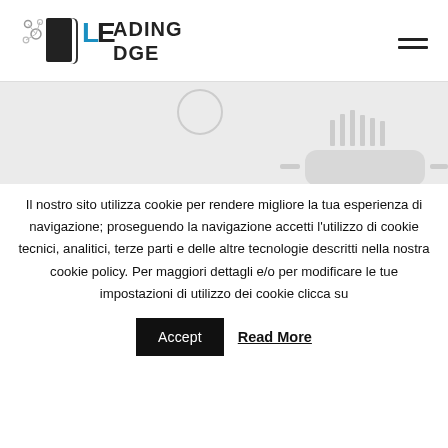Leading Edge
[Figure (screenshot): Partial view of a webpage hero/banner image showing a light gray background with a circular element and what appears to be a device or product outline in the lower right area]
Il nostro sito utilizza cookie per rendere migliore la tua esperienza di navigazione; proseguendo la navigazione accetti l'utilizzo di cookie tecnici, analitici, terze parti e delle altre tecnologie descritti nella nostra cookie policy. Per maggiori dettagli e/o per modificare le tue impostazioni di utilizzo dei cookie clicca su
Accept   Read More